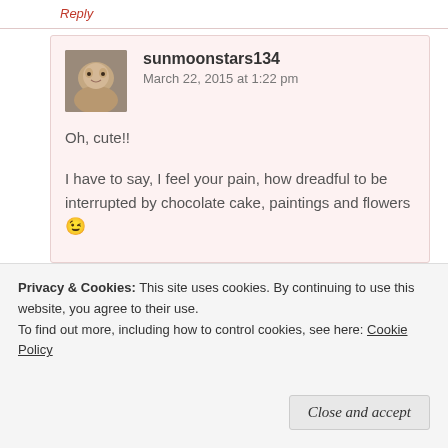Reply
sunmoonstars134   March 22, 2015 at 1:22 pm
Oh, cute!!
I have to say, I feel your pain, how dreadful to be interrupted by chocolate cake, paintings and flowers 😉
I'm on Pinterest with @crochetmagpie – mostly just a
Privacy & Cookies: This site uses cookies. By continuing to use this website, you agree to their use.
To find out more, including how to control cookies, see here: Cookie Policy
Close and accept